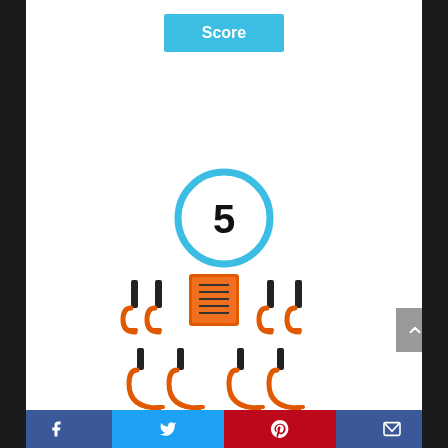Score
[Figure (infographic): Score circle showing the number 5 with a light blue circular border]
[Figure (photo): HORUSDY 10-Pack Garage Hooks product image showing multiple orange metal wall hooks and a hanging strip kit]
HORUSDY 10-Pack Garage Hooks, Heavy
Facebook | Twitter | Pinterest | Email